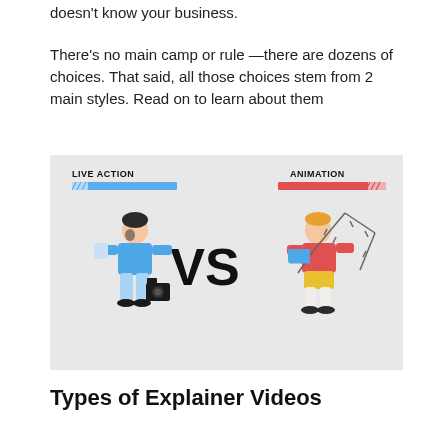doesn't know your business.
There's no main camp or rule —there are dozens of choices. That said, all those choices stem from 2 main styles. Read on to learn about them
[Figure (infographic): Infographic showing 'LIVE ACTION vs ANIMATION' with illustrated characters. Left side shows a man in blue outfit holding a video camera with 'LIVE ACTION' label and a blue progress bar. Right side shows a man in red/yellow outfit with animation rig equipment and 'ANIMATION' label and a red progress bar. Large 'VS' text in center.]
Types of Explainer Videos